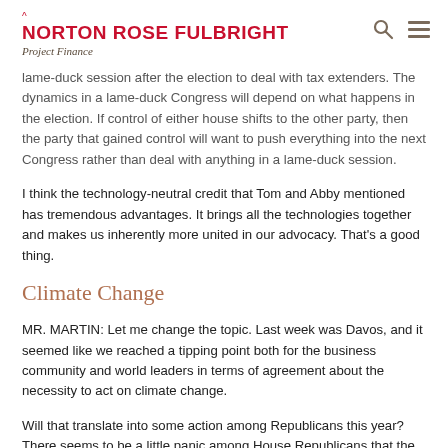NORTON ROSE FULBRIGHT — Project Finance
lame-duck session after the election to deal with tax extenders. The dynamics in a lame-duck Congress will depend on what happens in the election. If control of either house shifts to the other party, then the party that gained control will want to push everything into the next Congress rather than deal with anything in a lame-duck session.
I think the technology-neutral credit that Tom and Abby mentioned has tremendous advantages. It brings all the technologies together and makes us inherently more united in our advocacy. That's a good thing.
Climate Change
MR. MARTIN: Let me change the topic. Last week was Davos, and it seemed like we reached a tipping point both for the business community and world leaders in terms of agreement about the necessity to act on climate change.
Will that translate into some action among Republicans this year? There seems to be a little panic among House Republicans that the party must move off its position of questioning the science behind climate change.